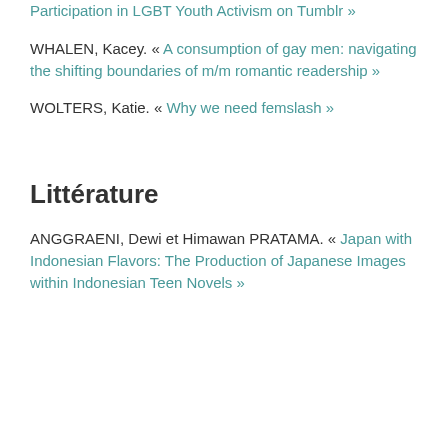Participation in LGBT Youth Activism on Tumblr »
WHALEN, Kacey. « A consumption of gay men: navigating the shifting boundaries of m/m romantic readership »
WOLTERS, Katie. « Why we need femslash »
Littérature
ANGGRAENI, Dewi et Himawan PRATAMA. « Japan with Indonesian Flavors: The Production of Japanese Images within Indonesian Teen Novels »